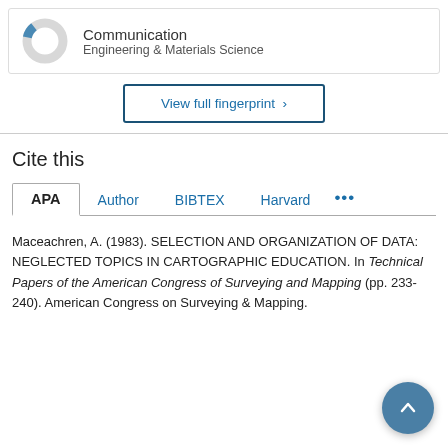[Figure (donut-chart): Small donut chart with a blue segment and grey body, representing Communication in Engineering & Materials Science]
Communication
Engineering & Materials Science
View full fingerprint >
Cite this
APA  Author  BIBTEX  Harvard  ...
Maceachren, A. (1983). SELECTION AND ORGANIZATION OF DATA: NEGLECTED TOPICS IN CARTOGRAPHIC EDUCATION. In Technical Papers of the American Congress of Surveying and Mapping (pp. 233-240). American Congress on Surveying & Mapping.